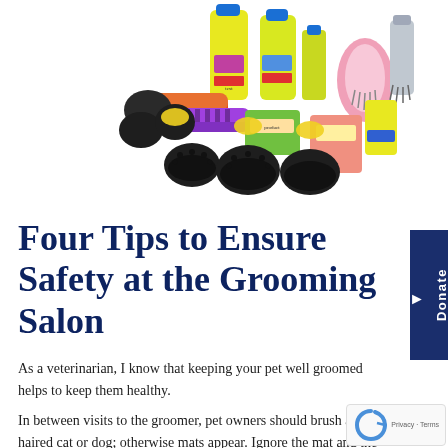[Figure (photo): Collection of colorful pet grooming products including brushes, shampoo bottles, and grooming tools arranged together on a white background]
Four Tips to Ensure Safety at the Grooming Salon
As a veterinarian, I know that keeping your pet well groomed helps to keep them healthy.
In between visits to the groomer, pet owners should brush a long-haired cat or dog; otherwise mats appear. Ignore the mat and the mat had better not grow because grooming even the